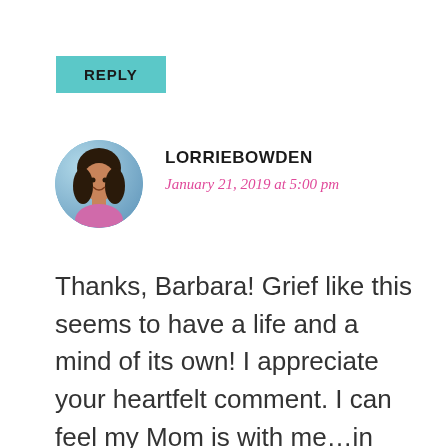REPLY
LORRIEBOWDEN
January 21, 2019 at 5:00 pm
Thanks, Barbara! Grief like this seems to have a life and a mind of its own! I appreciate your heartfelt comment. I can feel my Mom is with me…in fact she came in a dream the other night…and ahe